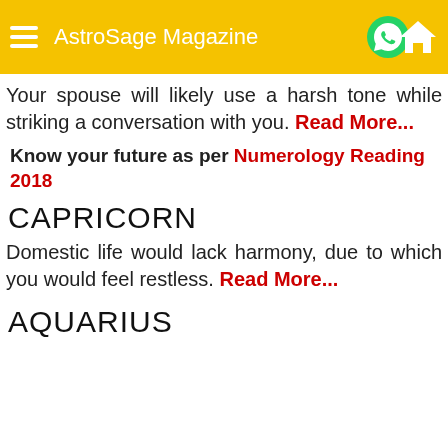AstroSage Magazine
Your spouse will likely use a harsh tone while striking a conversation with you. Read More...
Know your future as per Numerology Reading 2018
CAPRICORN
Domestic life would lack harmony, due to which you would feel restless. Read More...
AQUARIUS